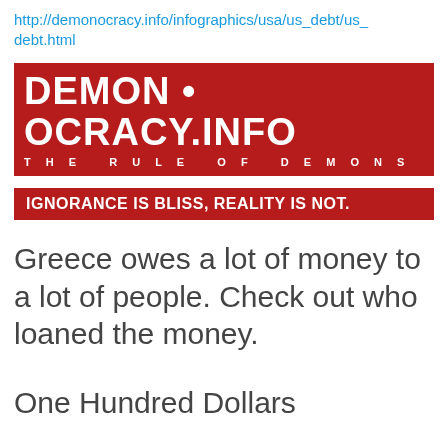http://demonocracy.info/infographics/usa/us_debt/us_debt.html
[Figure (logo): Demonocracy.info logo banner — red background with white bold text reading 'DEMON • OCRACY.INFO' and subtitle 'THE RULE OF DEMONS']
IGNORANCE IS BLISS, REALITY IS NOT.
Greece owes a lot of money to a lot of people. Check out who loaned the money.
One Hundred Dollars